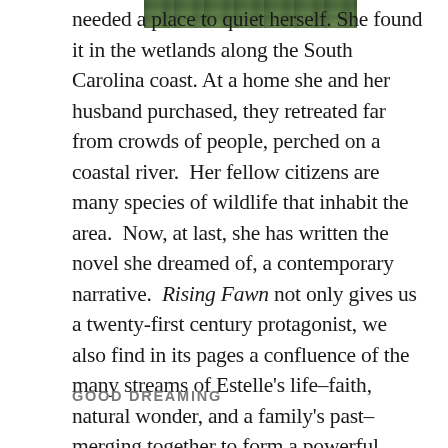[Figure (photo): Partial view of a wetlands/nature photograph, cropped at the top of the page showing green foliage and water]
needed a place to quiet herself. She found it in the wetlands along the South Carolina coast. At a home she and her husband purchased, they retreated far from crowds of people, perched on a coastal river.  Her fellow citizens are many species of wildlife that inhabit the area.  Now, at last, she has written the novel she dreamed of, a contemporary narrative.  Rising Fawn not only gives us a twenty-first century protagonist, we also find in its pages a confluence of the many streams of Estelle's life–faith, natural wonder, and a family's past–merging together to form a powerful narrative for our ever-changing future.
GOOD DREAMING